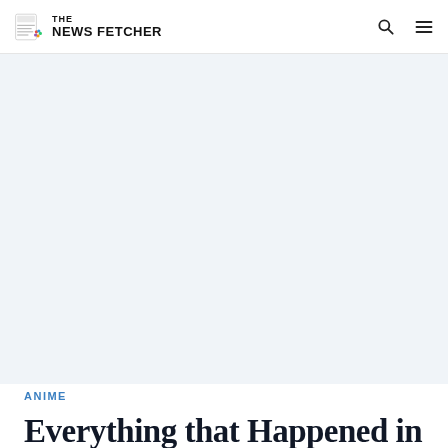THE NEWS FETCHER
[Figure (other): Large white/light blue advertisement or image placeholder area]
ANIME
Everything that Happened in Shaman